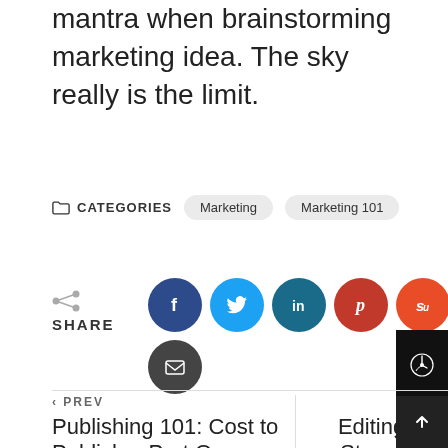mantra when brainstorming marketing idea. The sky really is the limit.
CATEGORIES  Marketing  Marketing 101
[Figure (infographic): Social share buttons: Facebook (dark blue), Twitter (light blue), LinkedIn (teal), Pinterest (red), StumbleUpon (orange), Email (dark gray)]
SHARE
< PREV  Publishing 101: Cost to Publish – Part One     NEXT >  Editing 101 Strengthen Your Writing by